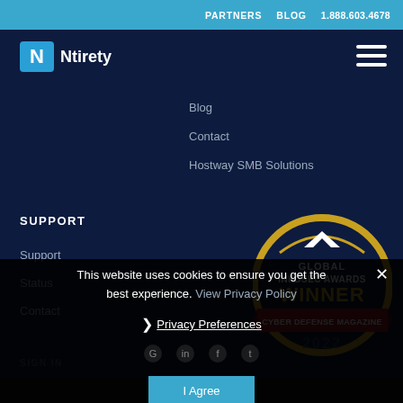PARTNERS   BLOG   1.888.603.4678
[Figure (logo): Ntirety logo - white N icon in blue square with Ntirety text]
[Figure (illustration): Hamburger menu icon (three white horizontal lines)]
Blog
Contact
Hostway SMB Solutions
SUPPORT
Support
Status
Contact
[Figure (illustration): Global Infosec Awards Winner - Cyber Defense Magazine 2022 badge. Circular gold badge with red ribbon banner reading CYBER DEFENSE MAGAZINE and WINNER text in gold, 2022 at bottom.]
SIGN IN
This website uses cookies to ensure you get the best experience. View Privacy Policy
❯  Privacy Preferences
I Agree